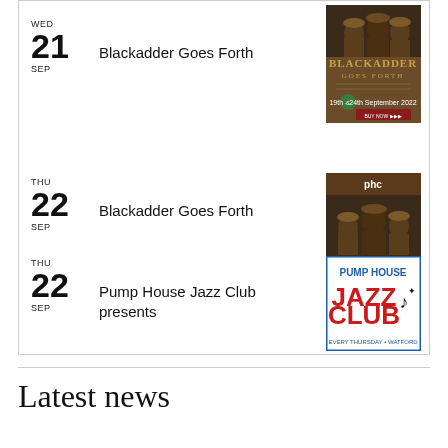WED 21 SEP — Blackadder Goes Forth
[Figure (photo): Blackadder Goes Forth event poster, 19th-24th September 2022]
THU 22 SEP — Blackadder Goes Forth
[Figure (photo): Blackadder Goes Forth event poster with phc logo, 19th-24th September 2022]
THU 22 SEP — Pump House Jazz Club presents
[Figure (photo): Pump House Jazz Club logo — Every Thursday, Watford]
Latest news